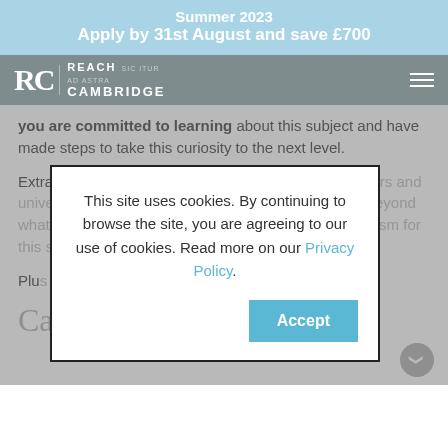Summer 2023
Apply by 31st August and save £700
[Figure (logo): Reach Cambridge logo with RC monogram and tagline SIC ITUR AD ASTRA]
you are committed to learning about this subject and have made steps to take this curiosity to the next level.
Extra-curricular courses show potential future employers and universities that you have genuine interest in a subject, are able to think beyond what you are taught at school, and that your enthusiasm for the subject does not stop in the classroom.
Plu...
[Figure (screenshot): Cookie consent dialog overlay: 'This site uses cookies. By continuing to browse the site, you are agreeing to our use of cookies. Read more on our Privacy Policy.' with an Accept button.]
Can I do more than one